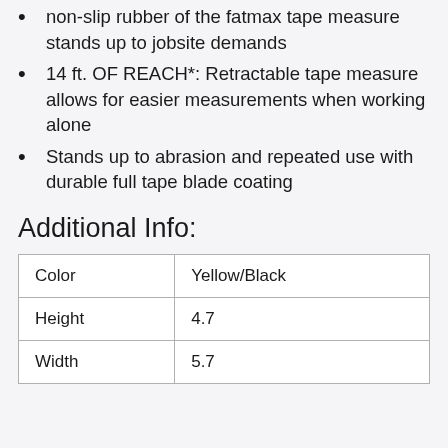non-slip rubber of the fatmax tape measure stands up to jobsite demands
14 ft. OF REACH*: Retractable tape measure allows for easier measurements when working alone
Stands up to abrasion and repeated use with durable full tape blade coating
Additional Info:
| Color | Yellow/Black |
| Height | 4.7 |
| Width | 5.7 |